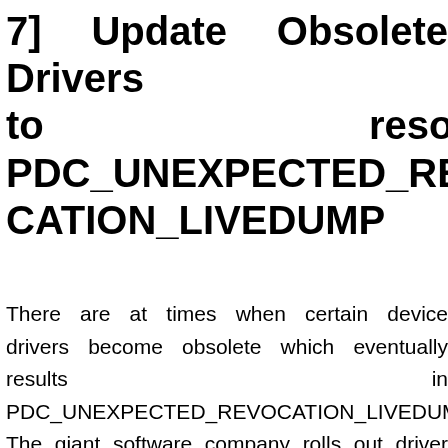7] Update Obsolete Drivers to resolve PDC_UNEXPECTED_REVOCATION_LIVEDUMP
There are at times when certain device drivers become obsolete which eventually results in PDC_UNEXPECTED_REVOCATION_LIVEDUMP. The giant software company rolls out driver updates that need to be installed every time they are released. When drivers become outdated they don't